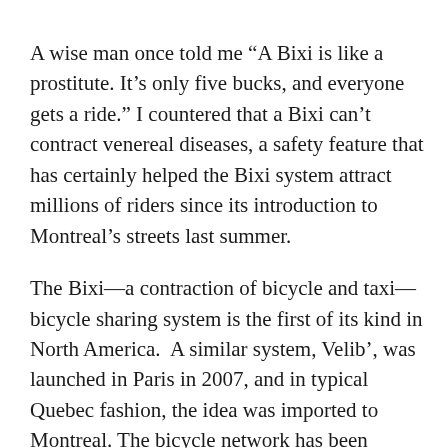A wise man once told me “A Bixi is like a prostitute. It's only five bucks, and everyone gets a ride.” I countered that a Bixi can’t contract venereal diseases, a safety feature that has certainly helped the Bixi system attract millions of riders since its introduction to Montreal’s streets last summer.
The Bixi—a contraction of bicycle and taxi—bicycle sharing system is the first of its kind in North America.  A similar system, Velib’, was launched in Paris in 2007, and in typical Quebec fashion, the idea was imported to Montreal. The bicycle network has been successful and now rents nearly 5,000 bikes, introduced in stages from season to season. In winter, you won’t see any around (although I’m